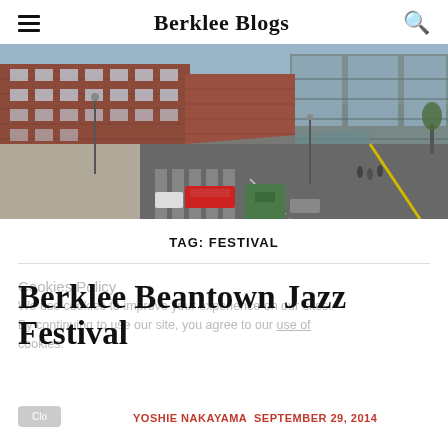Berklee Blogs
[Figure (photo): Aerial view of a city street with red brick buildings on the left and a modern glass building on the right, with cars and a crosswalk visible]
TAG: FESTIVAL
Cookies Policy
Berklee Beantown Jazz Festival
We use cookies to improve your experience on our sites. By continuing to use our site, you agree to our use of cookies.
YOSHIE NAKAYAMA  SEPTEMBER 29, 2014